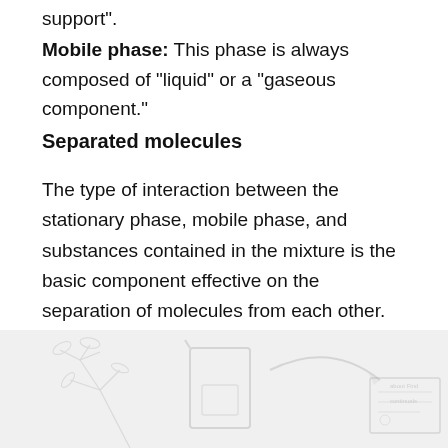support”.
Mobile phase: This phase is always composed of “liquid” or a “gaseous component.”
Separated molecules
The type of interaction between the stationary phase, mobile phase, and substances contained in the mixture is the basic component effective on the separation of molecules from each other.
[Figure (illustration): Faded/watermark illustration showing laboratory glassware and equipment (beakers, arrows) in light gray at the bottom of the page]